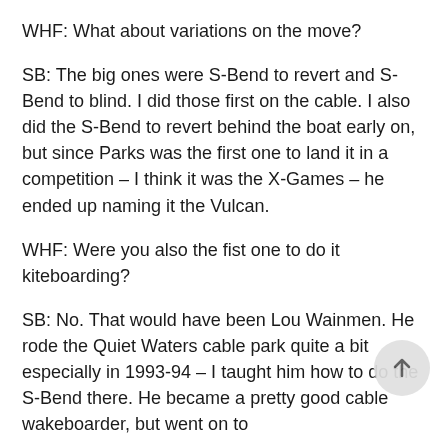WHF: What about variations on the move?
SB: The big ones were S-Bend to revert and S-Bend to blind. I did those first on the cable. I also did the S-Bend to revert behind the boat early on, but since Parks was the first one to land it in a competition – I think it was the X-Games – he ended up naming it the Vulcan.
WHF: Were you also the fist one to do it kiteboarding?
SB: No. That would have been Lou Wainmen. He rode the Quiet Waters cable park quite a bit especially in 1993-94 – I taught him how to do the S-Bend there. He became a pretty good cable wakeboarder, but went on to